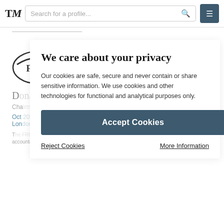TM [Search for a profile...] [menu]
[Figure (logo): FRC oval logo with stylized FRC letters]
Donald Brydon (partial, obscured)
Chairman, Restoring International Trust (obscured)
Oct 2019 - May 2020
London, UK
The FRC sets the UK Corporate Governance and Stewardship Codes and regulates accountants, auditors and (obscured)
We care about your privacy
Our cookies are safe, secure and never contain or share sensitive information. We use cookies and other technologies for functional and analytical purposes only.
Accept Cookies
Reject Cookies
More Information